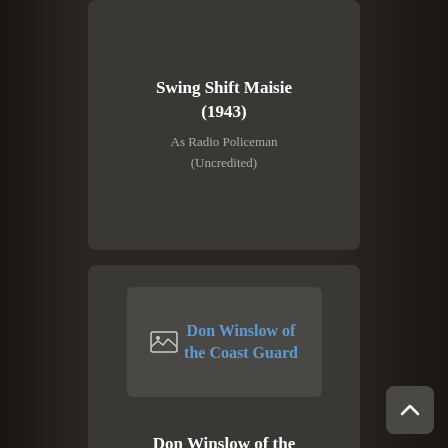Swing Shift Maisie (1943)
As Radio Policeman
(Uncredited)
[Figure (screenshot): Movie card for Don Winslow of the Coast Guard with broken image placeholder and blue link text]
Don Winslow of the Coast Guard (1943)
As C.P.O. Ben Cobb
[Figure (screenshot): Bottom card partially visible with broken image icon]